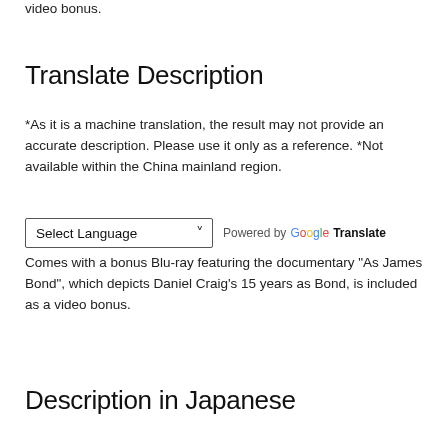video bonus.
Translate Description
*As it is a machine translation, the result may not provide an accurate description. Please use it only as a reference. *Not available within the China mainland region.
[Figure (screenshot): Select Language dropdown with arrow, followed by 'Powered by Google Translate' text with Google logo colors]
Comes with a bonus Blu-ray featuring the documentary "As James Bond", which depicts Daniel Craig's 15 years as Bond, is included as a video bonus.
Description in Japanese